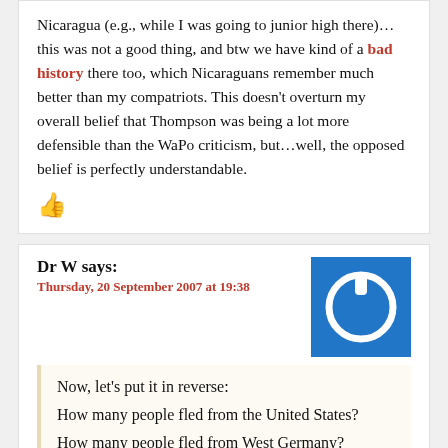Nicaragua (e.g., while I was going to junior high there)… this was not a good thing, and btw we have kind of a bad history there too, which Nicaraguans remember much better than my compatriots. This doesn't overturn my overall belief that Thompson was being a lot more defensible than the WaPo criticism, but…well, the opposed belief is perfectly understandable.
[Figure (illustration): Red thumbs up icon]
Dr W says:
Thursday, 20 September 2007 at 19:38
[Figure (illustration): Blue square avatar with white power button icon]
Now, let's put it in reverse:
How many people fled from the United States?
How many people fled from West Germany?
How many people fled from Japan?
You ask the wrong question.